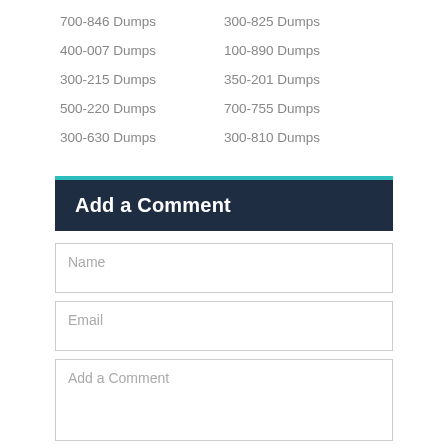700-846 Dumps
300-825 Dumps
400-007 Dumps
100-890 Dumps
300-215 Dumps
350-201 Dumps
500-220 Dumps
700-755 Dumps
300-630 Dumps
300-810 Dumps
Add a Comment
Name
Email
Add a Comment